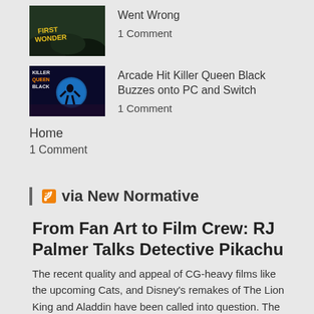[Figure (photo): Game thumbnail for First Wonder article, dark green forest background with yellow text]
Went Wrong
1 Comment
[Figure (photo): Game thumbnail for Killer Queen Black, dark blue background with character silhouette and moon]
Arcade Hit Killer Queen Black Buzzes onto PC and Switch
1 Comment
Home
1 Comment
via New Normative
From Fan Art to Film Crew: RJ Palmer Talks Detective Pikachu
The recent quality and appeal of CG-heavy films like the upcoming Cats, and Disney's remakes of The Lion King and Aladdin have been called into question. The film adaptation of Sonic the Hedgehog has experienced tumultuous development, with a universally reviled design undergoing revision. A desire for a return to 2D animated cinema has been [...]